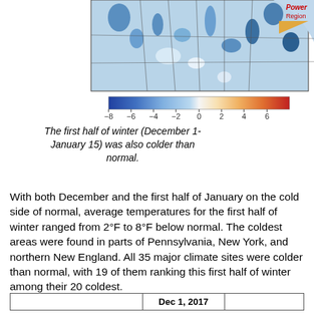[Figure (map): Temperature anomaly map of northeastern US showing below-normal temperatures (blues) for December 1 - January 15, with a color scale bar ranging from -8 to 8 degrees. Blues dominate indicating colder than normal conditions.]
The first half of winter (December 1-January 15) was also colder than normal.
With both December and the first half of January on the cold side of normal, average temperatures for the first half of winter ranged from 2°F to 8°F below normal. The coldest areas were found in parts of Pennsylvania, New York, and northern New England. All 35 major climate sites were colder than normal, with 19 of them ranking this first half of winter among their 20 coldest.
|  | Dec 1, 2017 |  |
| --- | --- | --- |